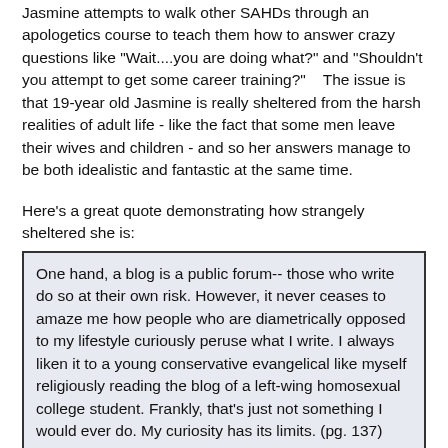Jasmine attempts to walk other SAHDs through an apologetics course to teach them how to answer crazy questions like "Wait....you are doing what?" and "Shouldn't you attempt to get some career training?"    The issue is that 19-year old Jasmine is really sheltered from the harsh realities of adult life - like the fact that some men leave their wives and children - and so her answers manage to be both idealistic and fantastic at the same time.
Here's a great quote demonstrating how strangely sheltered she is:
One hand, a blog is a public forum-- those who write do so at their own risk. However, it never ceases to amaze me how people who are diametrically opposed to my lifestyle curiously peruse what I write. I always liken it to a young conservative evangelical like myself religiously reading the blog of a left-wing homosexual college student. Frankly, that's just not something I would ever do. My curiosity has its limits. (pg. 137)
Well, the interest in her blog isn't based on the fact she's an evangelical SAHD; it's because she's the daughter of Voddie